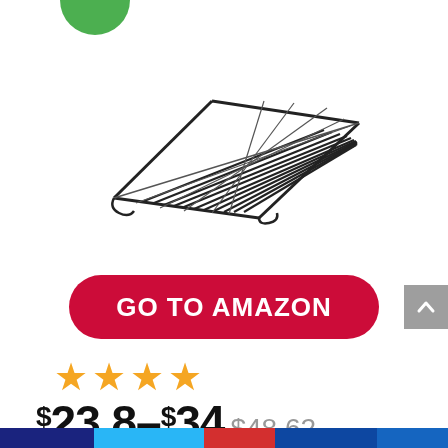[Figure (photo): A wire cooling/roasting rack shown in perspective view on a white background]
GO TO AMAZON
[Figure (other): 4 orange/gold star rating]
$23.8–$34 $48.62